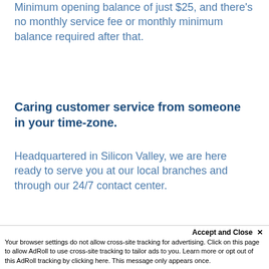Minimum opening balance of just $25, and there's no monthly service fee or monthly minimum balance required after that.
Caring customer service from someone in your time-zone.
Headquartered in Silicon Valley, we are here ready to serve you at our local branches and through our 24/7 contact center.
Convenient, new-school style
banking.
Accept and Close ✕
Your browser settings do not allow cross-site tracking for advertising. Click on this page to allow AdRoll to use cross-site tracking to tailor ads to you. Learn more or opt out of this AdRoll tracking by clicking here. This message only appears once.